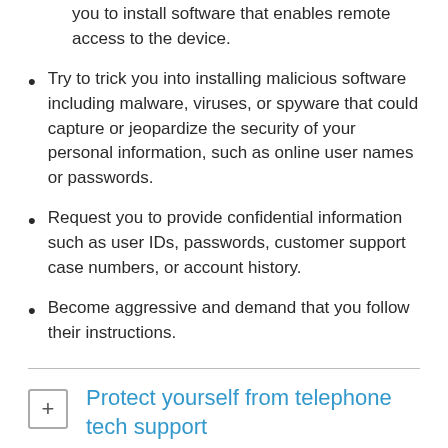you to install software that enables remote access to the device.
Try to trick you into installing malicious software including malware, viruses, or spyware that could capture or jeopardize the security of your personal information, such as online user names or passwords.
Request you to provide confidential information such as user IDs, passwords, customer support case numbers, or account history.
Become aggressive and demand that you follow their instructions.
Protect yourself from telephone tech support scammers
What to do after you have been contacted by